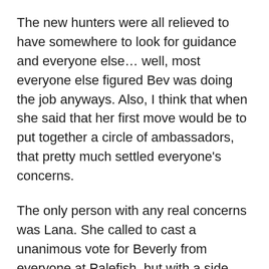The new hunters were all relieved to have somewhere to look for guidance and everyone else… well, most everyone else figured Bev was doing the job anyways. Also, I think that when she said that her first move would be to put together a circle of ambassadors, that pretty much settled everyone's concerns.
The only person with any real concerns was Lana. She called to cast a unanimous vote for Beverly from everyone at Palefish, but with a side note I fully did not understand:
“I can promise you as many of my resources as will agree to work with you,” Lana said. “But I can’t promise that the families will honor my